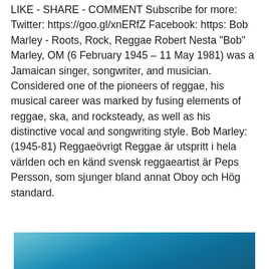LIKE - SHARE - COMMENT Subscribe for more: Twitter: https://goo.gl/xnERfZ Facebook: https: Bob Marley - Roots, Rock, Reggae Robert Nesta "Bob" Marley, OM (6 February 1945 – 11 May 1981) was a Jamaican singer, songwriter, and musician. Considered one of the pioneers of reggae, his musical career was marked by fusing elements of reggae, ska, and rocksteady, as well as his distinctive vocal and songwriting style. Bob Marley: (1945-81) Reggaeövrigt Reggae är utspritt i hela världen och en känd svensk reggaeartist är Peps Persson, som sjunger bland annat Oboy och Hög standard.
[Figure (photo): A blue gradient image, partially cropped, showing a sky-like blue gradient from lighter teal-blue at the top to deeper blue at the bottom.]